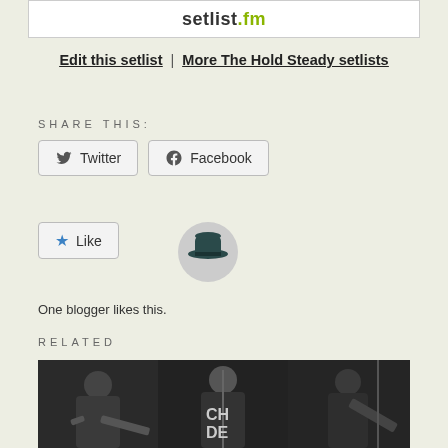[Figure (logo): setlist.fm logo in a white bordered box]
Edit this setlist | More The Hold Steady setlists
SHARE THIS:
[Figure (screenshot): Twitter share button]
[Figure (screenshot): Facebook share button]
[Figure (screenshot): Like button with star icon]
[Figure (photo): Blogger avatar icon - person with hat]
One blogger likes this.
RELATED
[Figure (photo): Black and white photo of The Hold Steady band members performing on stage]